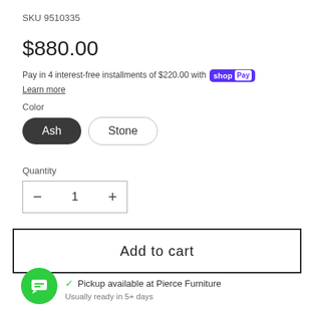SKU 9510335
$880.00
Pay in 4 interest-free installments of $220.00 with Shop Pay
Learn more
Color
Ash
Stone
Quantity
1
Add to cart
Pickup available at Pierce Furniture
Usually ready in 5+ days